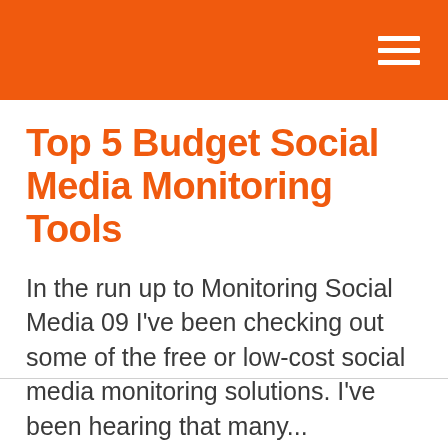Top 5 Budget Social Media Monitoring Tools
In the run up to Monitoring Social Media 09 I've been checking out some of the free or low-cost social media monitoring solutions. I've been hearing that many...
By Luke Brynley-Jones